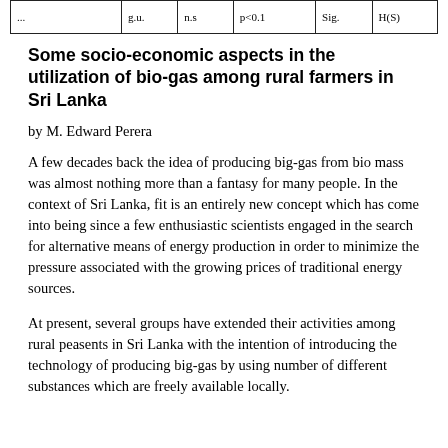| ... | g.u. | n.s | p<0.1 | Sig. | H(S) |
Some socio-economic aspects in the utilization of bio-gas among rural farmers in Sri Lanka
by M. Edward Perera
A few decades back the idea of producing big-gas from bio mass was almost nothing more than a fantasy for many people. In the context of Sri Lanka, fit is an entirely new concept which has come into being since a few enthusiastic scientists engaged in the search for alternative means of energy production in order to minimize the pressure associated with the growing prices of traditional energy sources.
At present, several groups have extended their activities among rural peasents in Sri Lanka with the intention of introducing the technology of producing big-gas by using number of different substances which are freely available locally.